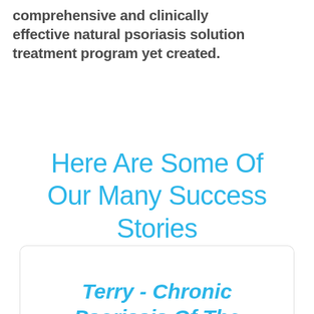comprehensive and clinically effective natural psoriasis solution treatment program yet created.
Here Are Some Of Our Many Success Stories
Terry - Chronic Psoriasis Of The Arms And Legs